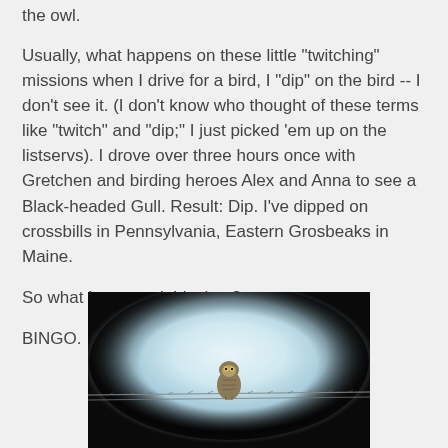the owl.
Usually, what happens on these little "twitching" missions when I drive for a bird, I "dip" on the bird -- I don't see it. (I don't know who thought of these terms like "twitch" and "dip;" I just picked 'em up on the listservs). I drove over three hours once with Gretchen and birding heroes Alex and Anna to see a Black-headed Gull. Result: Dip. I've dipped on crossbills in Pennsylvania, Eastern Grosbeaks in Maine.
So what happened this time?
BINGO.
[Figure (photo): A small owl perched on a wire, shot through a scope giving a circular vignette effect. The background is a bright pale blue-white sky. The owl faces forward.]